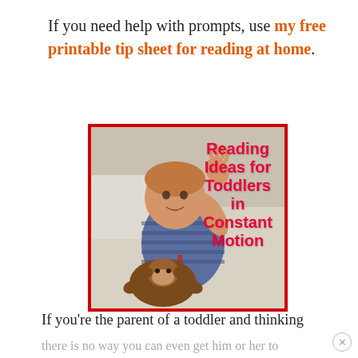If you need help with prompts, use my free printable tip sheet for reading at home.
[Figure (photo): A toddler boy sitting on a bed with a stuffed monkey toy, waving his hand. Overlaid red bold text reads: Reading Ideas for Toddlers in Constant Motion. The image has a red border.]
If you're the parent of a toddler and thinking
there is no way you can even get him or her to